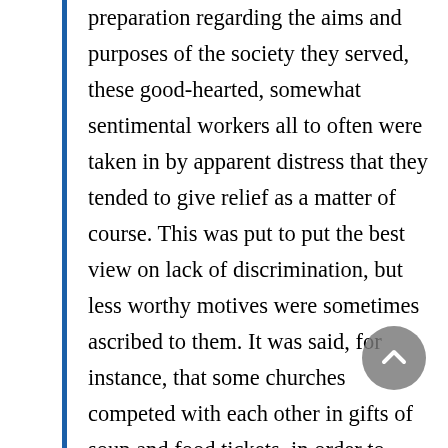preparation regarding the aims and purposes of the society they served, these good-hearted, somewhat sentimental workers all to often were taken in by apparent distress that they tended to give relief as a matter of course. This was put to put the best view on lack of discrimination, but less worthy motives were sometimes ascribed to them. It was said, for instance, that some churches competed with each other in gifts of soup and food tickets, in order to increase their congregations; that such was the competition among the relief societies working with the homeless that John Burns